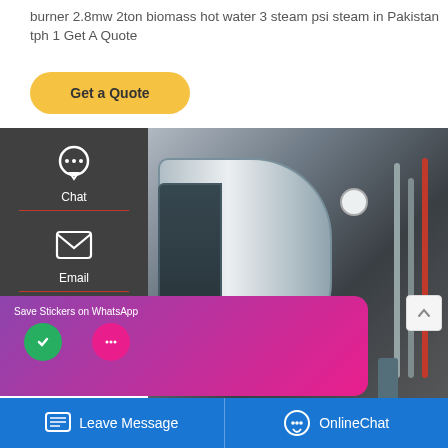burner 2.8mw 2ton biomass hot water 3 steam psi steam in Pakistan tph 1 Get A Quote
Get a Quote
[Figure (screenshot): Left sidebar with Chat, Email, Contact icons on dark background]
[Figure (photo): Industrial boiler (方快锅炉 brand) in a facility with pipes, gauges, and a worker standing nearby]
Fuel Consumption
[Figure (screenshot): WhatsApp sticker save popup with phone and emoji icons on purple-pink gradient background]
Leave Message
OnlineChat